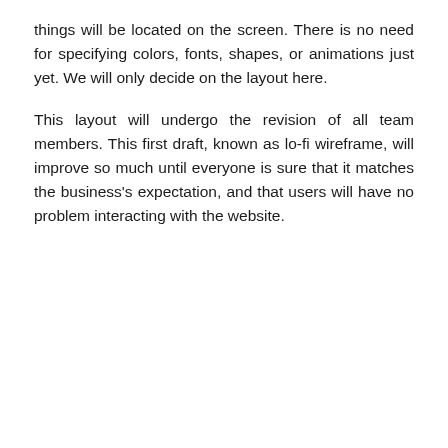things will be located on the screen. There is no need for specifying colors, fonts, shapes, or animations just yet. We will only decide on the layout here.
This layout will undergo the revision of all team members. This first draft, known as lo-fi wireframe, will improve so much until everyone is sure that it matches the business's expectation, and that users will have no problem interacting with the website.